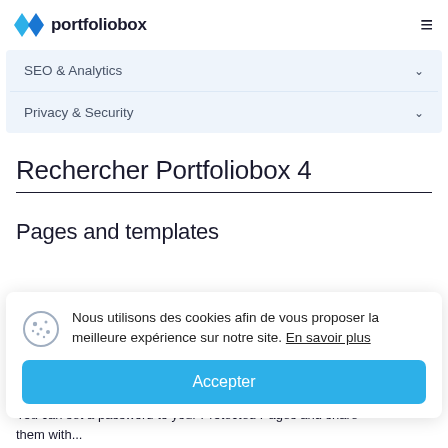portfoliobox
SEO & Analytics
Privacy & Security
Rechercher Portfoliobox 4
Pages and templates
Nous utilisons des cookies afin de vous proposer la meilleure expérience sur notre site. En savoir plus
Accepter
You can set a password to your Protected Pages and share them with...